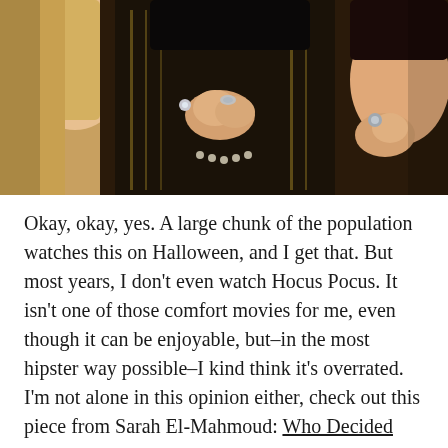[Figure (photo): Close-up photo of three women in witch costumes (Hocus Pocus), wearing ornate dark jackets with gold embroidery, jewelry with rings, and elaborate makeup. The central figure has hands clasped near her face.]
Okay, okay, yes. A large chunk of the population watches this on Halloween, and I get that. But most years, I don't even watch Hocus Pocus. It isn't one of those comfort movies for me, even though it can be enjoyable, but–in the most hipster way possible–I kind think it's overrated. I'm not alone in this opinion either, check out this piece from Sarah El-Mahmoud: Who Decided Hocus Pocus Was A Great Movie?Other than the three witches, every character annoys me and if the film just consisted of Winifred and the gang causing chaos rather than the weird plot they forget about half the time, I would probably like it more and consider it part of my ritual. It's a staple for most however, so no judgement if this